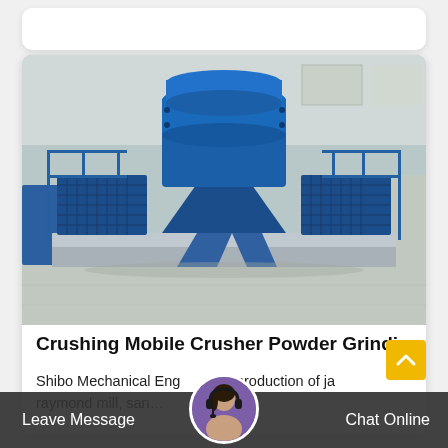[Figure (photo): Large blue industrial vertical shaft impact crusher machine on a factory floor. The machine has a prominent blue cylindrical upper section, a large platform base with mesh side panels, blue safety railings on both sides, and a grey/silver hopper structure below. Industrial warehouse background.]
Crushing Mobile Crusher Powder Grinding S...
Shibo Mechanical Engineering production of jaw... raymond mill, san...
Leave Message   Chat Online